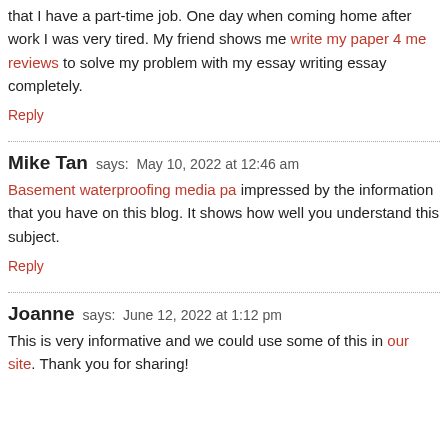that I have a part-time job. One day when coming home after work I was very tired. My friend shows me write my paper 4 me reviews to solve my problem with my essay writing essay completely.
Reply
Mike Tan says: May 10, 2022 at 12:46 am
Basement waterproofing media pa impressed by the information that you have on this blog. It shows how well you understand this subject.
Reply
Joanne says: June 12, 2022 at 1:12 pm
This is very informative and we could use some of this in our site. Thank you for sharing!